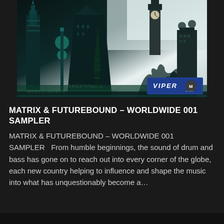[Figure (illustration): Album artwork for Matrix & Futurebound – Worldwide 001 Sampler. A collage of iconic world city skylines including the Chrysler Building (New York), Eiffel Tower (Paris), Big Ben (London), Sydney Opera House, and other landmark buildings rendered in dark teal and green tones with dramatic lighting. Viper logo badge in bottom right corner.]
MATRIX & FUTUREBOUND – WORLDWIDE 001 SAMPLER
MATRIX & FUTUREBOUND – WORLDWIDE 001 SAMPLER   From humble beginnings, the sound of drum and bass has gone on to reach out into every corner of the globe, each new country helping to influence and shape the music into what has unquestionably become a...